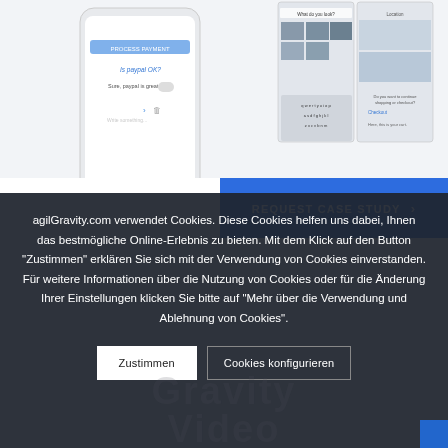[Figure (screenshot): Mobile app screenshots showing chat interface and product browsing UI on smartphone screens]
REQUEST CASE STUDY ›
agilGravity.com verwendet Cookies. Diese Cookies helfen uns dabei, Ihnen das bestmögliche Online-Erlebnis zu bieten. Mit dem Klick auf den Button "Zustimmen" erklären Sie sich mit der Verwendung von Cookies einverstanden. Für weitere Informationen über die Nutzung von Cookies oder für die Änderung Ihrer Einstellungen klicken Sie bitte auf "Mehr über die Verwendung und Ablehnung von Cookies".
Zustimmen
Cookies konfigurieren